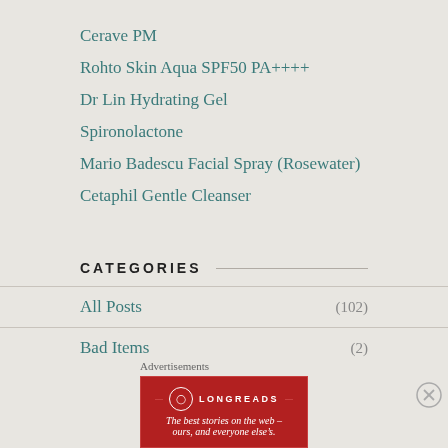Cerave PM
Rohto Skin Aqua SPF50 PA++++
Dr Lin Hydrating Gel
Spironolactone
Mario Badescu Facial Spray (Rosewater)
Cetaphil Gentle Cleanser
CATEGORIES
All Posts (102)
Bad Items (2)
Blush (2)
Advertisements
[Figure (advertisement): Longreads advertisement banner: red background with Longreads logo and tagline 'The best stories on the web — ours, and everyone else's.']